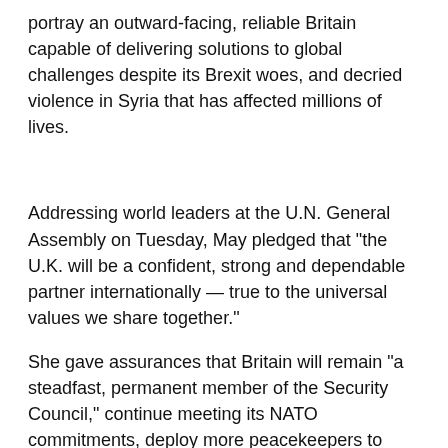portray an outward-facing, reliable Britain capable of delivering solutions to global challenges despite its Brexit woes, and decried violence in Syria that has affected millions of lives.
Addressing world leaders at the U.N. General Assembly on Tuesday, May pledged that "the U.K. will be a confident, strong and dependable partner internationally — true to the universal values we share together."
She gave assurances that Britain will remain "a steadfast, permanent member of the Security Council," continue meeting its NATO commitments, deploy more peacekeepers to Somalia and South Sudan, and seek to resolve conflicts across the world.
"When the British people voted to leave the EU, they did not